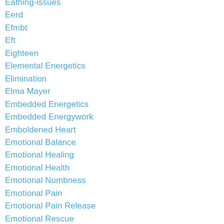Eathing-issues
Eerd
Efmbt
Eft
Eighteen
Elemental Energetics
Elimination
Elma Mayer
Embedded Energetics
Embedded Energywork
Emboldened Heart
Emotional Balance
Emotional Healing
Emotional Health
Emotional Numbness
Emotional Pain
Emotional Pain Release
Emotional Rescue
Emotional Stress Tapping
Emotions